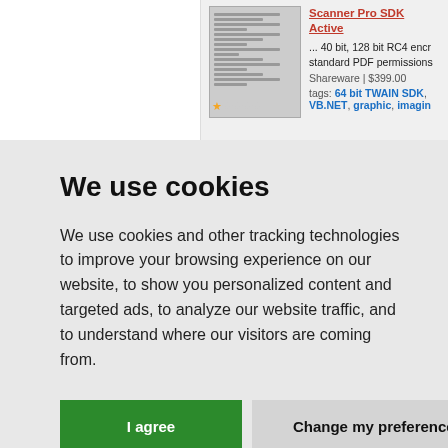Scanner Pro SDK Active... 40 bit, 128 bit RC4 encryption standard PDF permissions Shareware | $399.00 tags: 64 bit TWAIN SDK, VB.NET, graphic, imaging
We use cookies
We use cookies and other tracking technologies to improve your browsing experience on our website, to show you personalized content and targeted ads, to analyze our website traffic, and to understand where our visitors are coming from.
I agree    Change my preferences